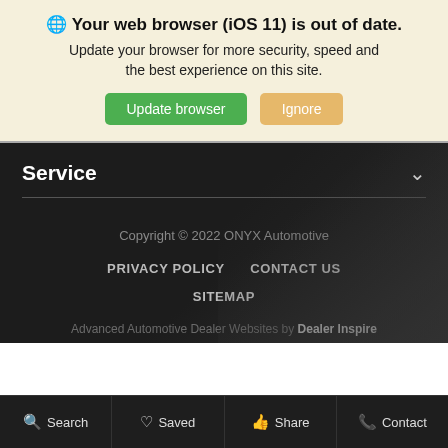🌐 Your web browser (iOS 11) is out of date. Update your browser for more security, speed and the best experience on this site. [Update browser] [Ignore]
Service
Copyright © 2022 ONYX Automotive
PRIVACY POLICY   CONTACT US
SITEMAP
Advanced Automotive Dealer Websites by Dealer Inspire
Search   Saved   Share   Contact